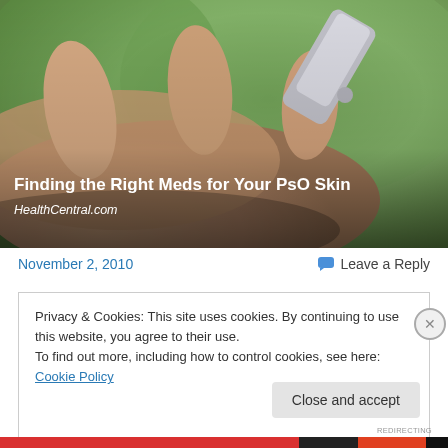[Figure (photo): Close-up photo of a hand with a cream/medication tube being applied, green blurred background. Title overlay reads 'Finding the Right Meds for Your PsO Skin' with source 'HealthCentral.com']
Finding the Right Meds for Your PsO Skin
HealthCentral.com
November 2, 2010
Leave a Reply
Privacy & Cookies: This site uses cookies. By continuing to use this website, you agree to their use.
To find out more, including how to control cookies, see here: Cookie Policy